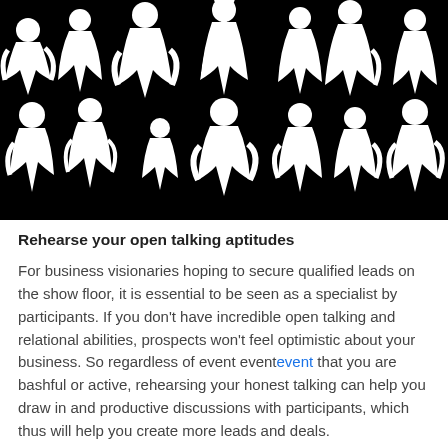[Figure (illustration): Black and white silhouette illustration of a crowd of people in business/social settings, appearing to network and converse. White silhouettes on black background showing multiple figures in various poses of conversation and interaction.]
Rehearse your open talking aptitudes
For business visionaries hoping to secure qualified leads on the show floor, it is essential to be seen as a specialist by participants. If you don't have incredible open talking and relational abilities, prospects won't feel optimistic about your business. So regardless of event eventevent that you are bashful or active, rehearsing your honest talking can help you draw in and productive discussions with participants, which thus will help you create more leads and deals.